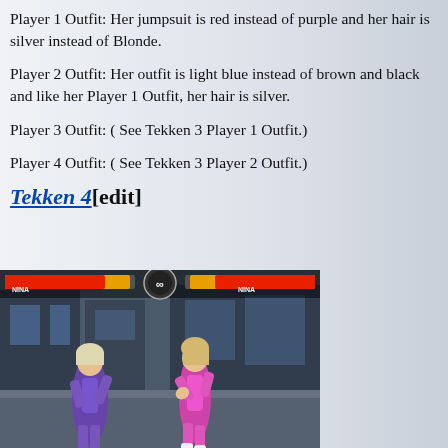Player 1 Outfit: Her jumpsuit is red instead of purple and her hair is silver instead of Blonde.
Player 2 Outfit: Her outfit is light blue instead of brown and black and like her Player 1 Outfit, her hair is silver.
Player 3 Outfit: ( See Tekken 3 Player 1 Outfit.)
Player 4 Outfit: ( See Tekken 3 Player 2 Outfit.)
Tekken 4[edit]
[Figure (screenshot): Screenshot from Tekken 4 game showing two Nina Williams characters fighting. Left character wears a purple outfit, right character wears a pink/magenta outfit. HUD shows health bars and 'NINA' labels for both players.]